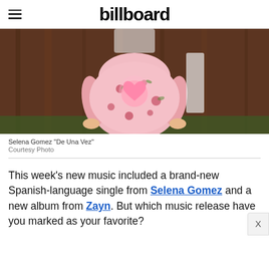billboard
[Figure (photo): A woman wearing a pink floral dress with a glowing pink heart on the chest, standing against a wooden background]
Selena Gomez "De Una Vez"
Courtesy Photo
This week's new music included a brand-new Spanish-language single from Selena Gomez and a new album from Zayn. But which music release have you marked as your favorite?